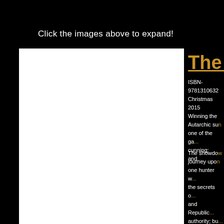Click the images above to expand!
[Figure (other): White book cover image, partially visible on left side of page]
The Hu...
ISBN-9781310632... Christmas 2015 Winning the Autarchic su... one of the ga... cunning; and...
The showdo... journey upon... one hunter w... the secrets o... and Republic... authority; bu... begins.